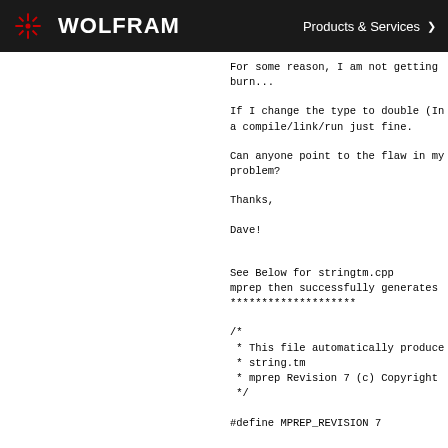WOLFRAM   Products & Services
For some reason, I am not getting burn...
If I change the type to double (In a compile/link/run just fine.
Can anyone point to the flaw in my problem?
Thanks,
Dave!
See Below for stringtm.cpp
mprep then successfully generates
********************
/*
 * This file automatically produce
 * string.tm
 * mprep Revision 7 (c) Copyright
 */
#define MPREP_REVISION 7